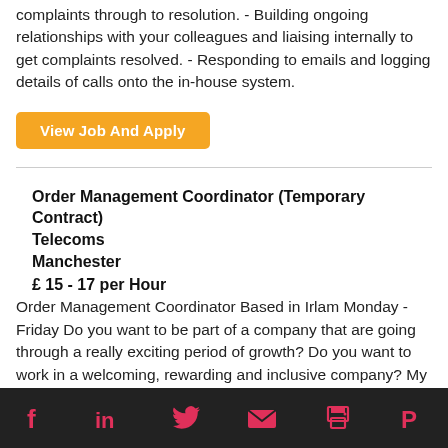complaints through to resolution. - Building ongoing relationships with your colleagues and liaising internally to get complaints resolved. - Responding to emails and logging details of calls onto the in-house system.
View Job And Apply
Order Management Coordinator (Temporary Contract)
Telecoms
Manchester
£ 15 - 17 per Hour
Order Management Coordinator Based in Irlam Monday - Friday Do you want to be part of a company that are going through a really exciting period of growth? Do you want to work in a welcoming, rewarding and inclusive company? My client is the largest UK/Independent company in their sector. They are really proud of the fact
Social share icons: Facebook, LinkedIn, Twitter, Email, Print, Pinterest